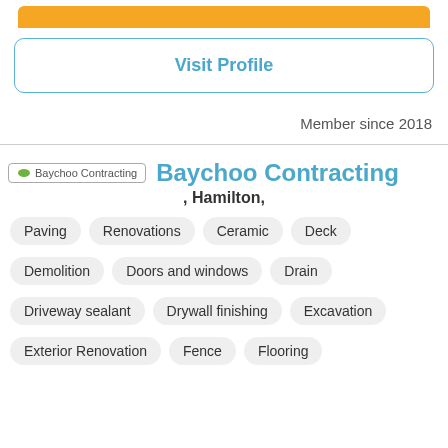[Figure (other): Orange decorative bar at top]
Visit Profile
Member since 2018
Baychoo Contracting
, Hamilton,
Paving
Renovations
Ceramic
Deck
Demolition
Doors and windows
Drain
Driveway sealant
Drywall finishing
Excavation
Exterior Renovation
Fence
Flooring